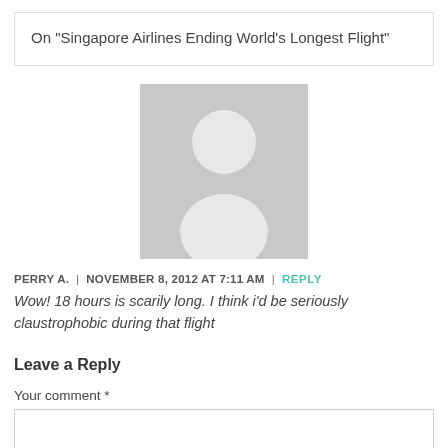On "Singapore Airlines Ending World's Longest Flight"
[Figure (illustration): Generic user avatar: grey square background with silhouette of a person (white head circle and white torso shape)]
PERRY A.  |  NOVEMBER 8, 2012 AT 7:11 AM  |  REPLY
Wow! 18 hours is scarily long. I think i'd be seriously claustrophobic during that flight
Leave a Reply
Your comment *